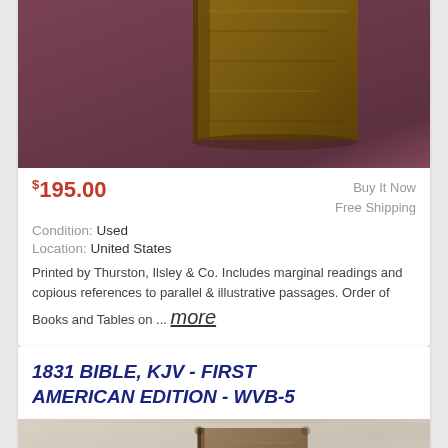[Figure (photo): Photo of an old worn leather-bound book spine on a dark mauve/purple fabric background]
$195.00
Buy It Now
Free Shipping
Condition: Used
Location: United States
Printed by Thurston, Ilsley & Co. Includes marginal readings and copious references to parallel & illustrative passages. Order of Books and Tables on ... more
1831 BIBLE, KJV - FIRST AMERICAN EDITION - WVB-5
[Figure (photo): Photo of an old worn leather-bound book on a light cream/white fabric background]